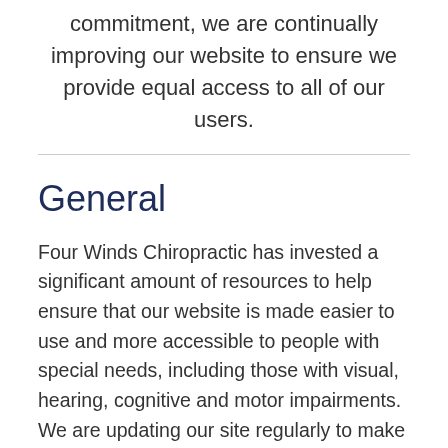commitment, we are continually improving our website to ensure we provide equal access to all of our users.
General
Four Winds Chiropractic has invested a significant amount of resources to help ensure that our website is made easier to use and more accessible to people with special needs, including those with visual, hearing, cognitive and motor impairments. We are updating our site regularly to make it as accessible as possible.
Accessibility